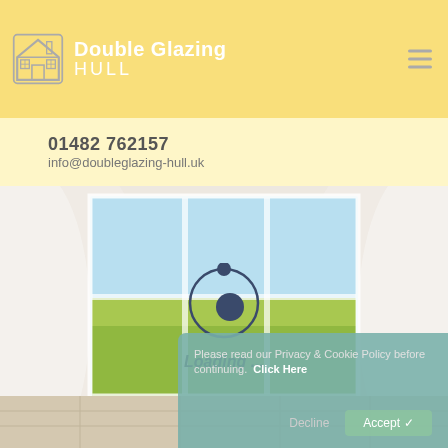Double Glazing HULL
01482 762157
info@doubleglazing-hull.uk
[Figure (screenshot): Loading screen with spinner animation showing a room interior with sheer white curtains framing a window with a view of green fields and blue sky. A loading spinner (dark blue circle orbit icon) is centered with 'Loading ...' text below.]
Please read our Privacy & Cookie Policy before continuing.  Click Here
Decline  Accept